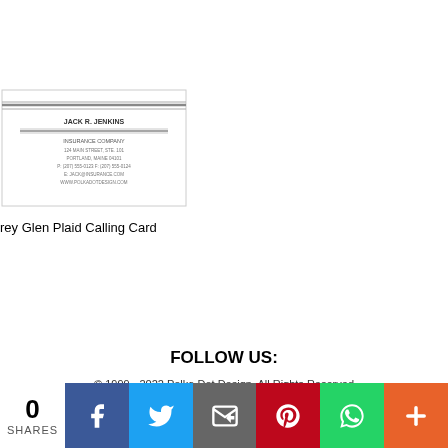[Figure (illustration): Grey Glen Plaid Calling Card thumbnail — a small rectangular business card design with plaid/stripe decorative lines at top, a name line, horizontal rules, and contact info text below]
rey Glen Plaid Calling Card
FOLLOW US:
© 1999 - 2022 Polka Dot Design. All Rights Reserved
[Figure (infographic): Social share bar with count 0 SHARES, and buttons for Facebook, Twitter, Email, Pinterest, WhatsApp, and More]